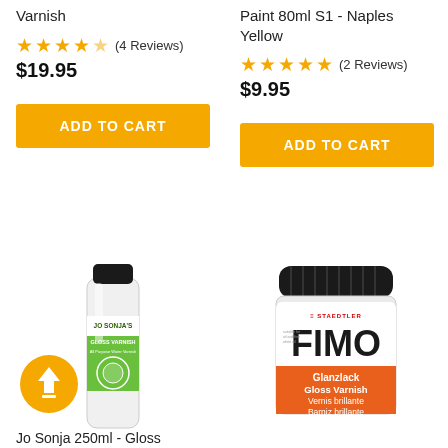Varnish
★★★★★ (4 Reviews)
$19.95
ADD TO CART
Paint 80ml S1 - Naples Yellow
★★★★★ (2 Reviews)
$9.95
ADD TO CART
[Figure (photo): Jo Sonja 250ml Gloss Varnish bottle with green and white label and black cap]
[Figure (photo): FIMO Gloss Varnish jar by STAEDTLER with orange and white label and black lid]
Jo Sonja 250ml - Gloss